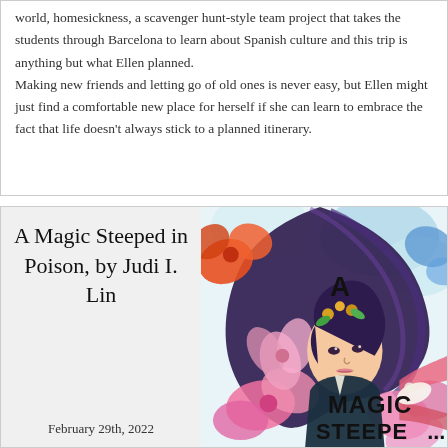world, homesickness, a scavenger hunt-style team project that takes the students through Barcelona to learn about Spanish culture and this trip is anything but what Ellen planned.

Making new friends and letting go of old ones is never easy, but Ellen might just find a comfortable new place for herself if she can learn to embrace the fact that life doesn't always stick to a planned itinerary.
A Magic Steeped in Poison, by Judi I. Lin
[Figure (illustration): Book cover of 'A Magic Steeped in Poison' featuring a stylized illustration of a young woman with flowing dark hair, surrounded by colorful flowers and swirling patterns in pink, blue, orange and purple hues. The title text 'A MAGIC STEEPE...' is visible at the bottom of the cover.]
February 29th, 2022